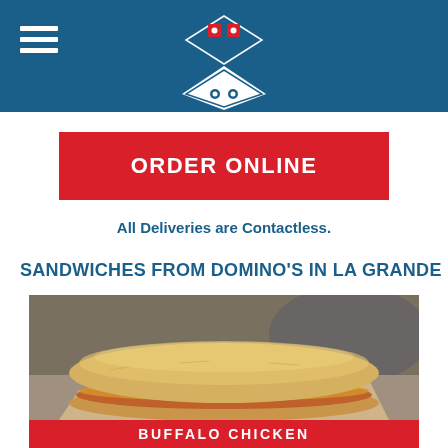Domino's Pizza header with logo and hamburger menu
ORDER ONLINE
All Deliveries are Contactless.
SANDWICHES FROM DOMINO'S IN LA GRANDE
[Figure (photo): A Domino's sandwich (sub/hoagie) with chicken, cheese, and toppings on a flatbread roll, placed on parchment paper on a stainless steel surface]
BUFFALO CHICKEN